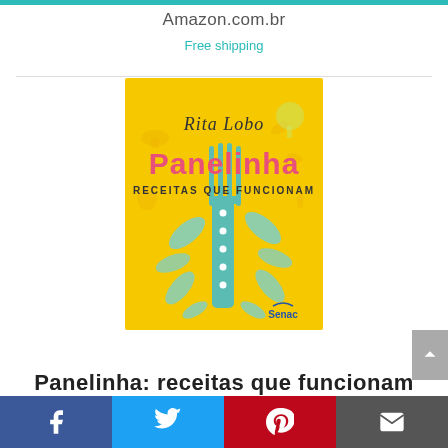Amazon.com.br
Free shipping
[Figure (photo): Book cover of 'Panelinha: Receitas que Funcionam' by Rita Lobo, published by Senac. Yellow background with a green polka-dotted fork and teal leaf decorations, food illustrations scattered around.]
Panelinha: receitas que funcionam